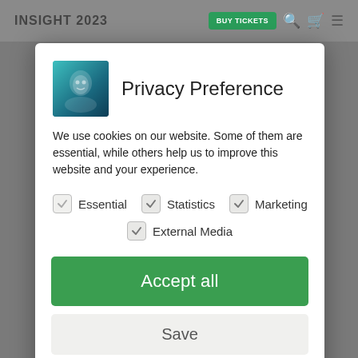[Figure (screenshot): Website navigation bar with INSIGHT 2023 logo, BUY TICKETS button, and icons, shown behind a modal overlay on a grey background.]
Privacy Preference
We use cookies on our website. Some of them are essential, while others help us to improve this website and your experience.
Essential
Statistics
Marketing
External Media
Accept all
Save
Individual Privacy Preferences
Cookie Details | Privacy Policy